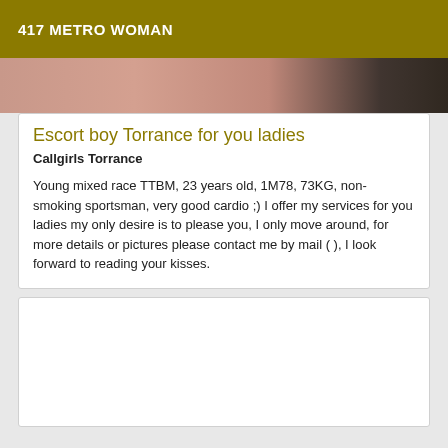417 METRO WOMAN
[Figure (photo): Partial photo of a person, cropped at the top]
Escort boy Torrance for you ladies
Callgirls Torrance
Young mixed race TTBM, 23 years old, 1M78, 73KG, non-smoking sportsman, very good cardio ;) I offer my services for you ladies my only desire is to please you, I only move around, for more details or pictures please contact me by mail ( ), I look forward to reading your kisses.